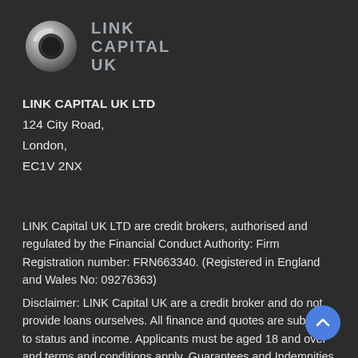[Figure (logo): Link Capital UK logo: metallic ring/circle icon on the left, 'LINK CAPITAL UK' bold grey text on the right]
LINK CAPITAL UK LTD
124 City Road,
London,
EC1V 2NX
LINK Capital UK LTD are credit brokers, authorised and regulated by the Financial Conduct Authority: Firm Registration number: FRN663340. (Registered in England and Wales No: 09276363)
Disclaimer: LINK Capital UK are a credit broker and do not provide loans ourselves. All finance and quotes are subject to status and income. Applicants must be aged 18 and over and terms and conditions apply. Guarantees and Indemnities may